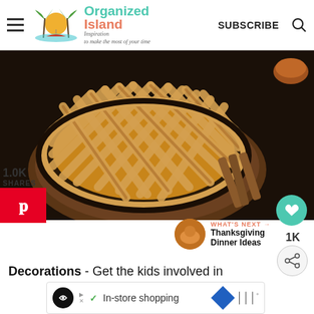Organized Island — Inspiration to make the most of your time | SUBSCRIBE
[Figure (photo): Overhead view of a lattice-top apple pie in a dark tart pan, placed on a wooden board with cinnamon sticks beside it, on a dark background]
1.0K
SHARES
1K
WHAT'S NEXT → Thanksgiving Dinner Ideas
Decorations - Get the kids involved in d
✓ In-store shopping